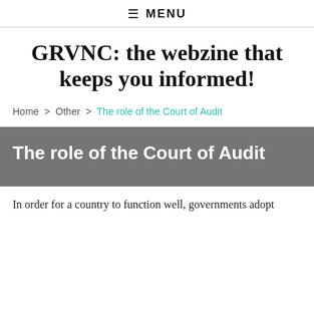≡ MENU
GRVNC: the webzine that keeps you informed!
Home > Other > The role of the Court of Audit
The role of the Court of Audit
In order for a country to function well, governments adopt